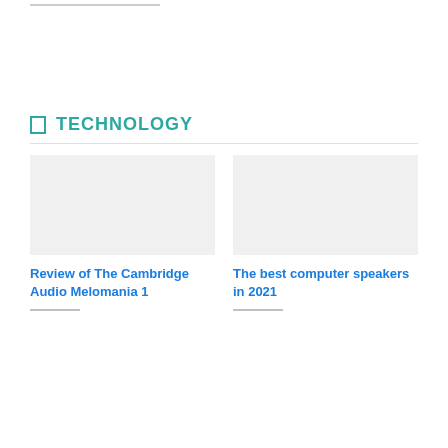TECHNOLOGY
Review of The Cambridge Audio Melomania 1
The best computer speakers in 2021